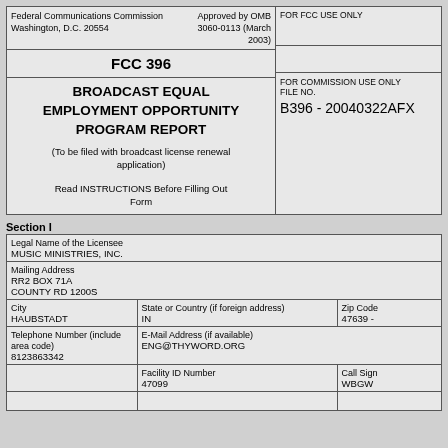| Federal Communications Commission
Washington, D.C. 20554 | Approved by OMB 3060-0113 (March 2003) | FOR FCC USE ONLY |
| FCC 396 |  |  |
| BROADCAST EQUAL EMPLOYMENT OPPORTUNITY PROGRAM REPORT
(To be filed with broadcast license renewal application)
Read INSTRUCTIONS Before Filling Out Form |  | FOR COMMISSION USE ONLY
FILE NO.
B396 - 20040322AFX |
Section I
| Legal Name of the Licensee
MUSIC MINISTRIES, INC. |
| Mailing Address
RR2 BOX 71A
COUNTY RD 1200S |
| City
HAUBSTADT | State or Country (if foreign address)
IN | Zip Code
47639 - |
| Telephone Number (include area code)
8123863342 | E-Mail Address (if available)
ENG@THYWORD.ORG |  |
|  | Facility ID Number
47099 | Call Sign
WBGW |
|  |  |  |